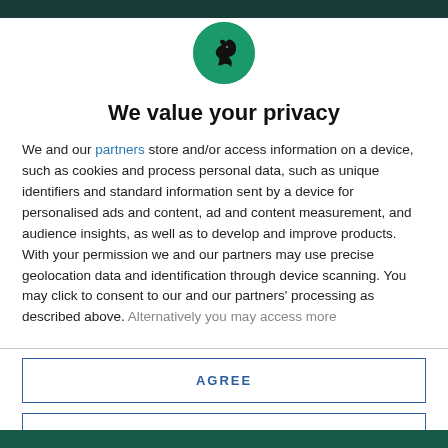[Figure (logo): Round green circle with a black bird/raven silhouette logo]
We value your privacy
We and our partners store and/or access information on a device, such as cookies and process personal data, such as unique identifiers and standard information sent by a device for personalised ads and content, ad and content measurement, and audience insights, as well as to develop and improve products. With your permission we and our partners may use precise geolocation data and identification through device scanning. You may click to consent to our and our partners' processing as described above. Alternatively you may access more
AGREE
MORE OPTIONS